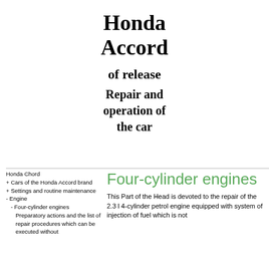Honda Accord
of release
Repair and operation of the car
Honda Chord
+ Cars of the Honda Accord brand
+ Settings and routine maintenance
- Engine
- Four-cylinder engines
Preparatory actions and the list of repair procedures which can be executed without
Four-cylinder engines
This Part of the Head is devoted to the repair of the 2.3 l 4-cylinder petrol engine equipped with system of injection of fuel which is not